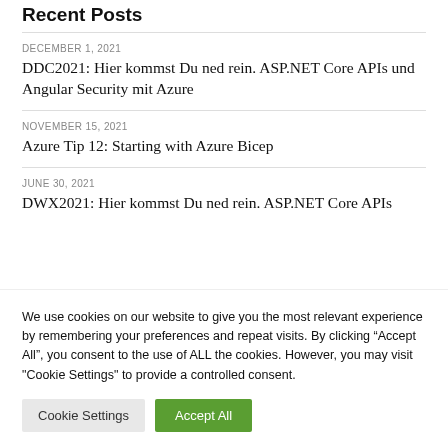Recent Posts
DECEMBER 1, 2021
DDC2021: Hier kommst Du ned rein. ASP.NET Core APIs und Angular Security mit Azure
NOVEMBER 15, 2021
Azure Tip 12: Starting with Azure Bicep
JUNE 30, 2021
DWX2021: Hier kommst Du ned rein. ASP.NET Core APIs
We use cookies on our website to give you the most relevant experience by remembering your preferences and repeat visits. By clicking “Accept All”, you consent to the use of ALL the cookies. However, you may visit "Cookie Settings" to provide a controlled consent.